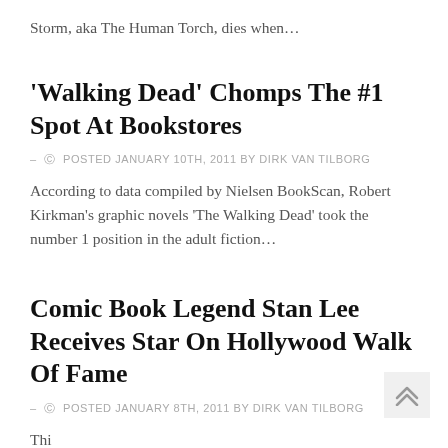Storm, aka The Human Torch, dies when…
'Walking Dead' Chomps The #1 Spot At Bookstores
– © POSTED JANUARY 10TH, 2011 BY DIRK VAN TILBORG
According to data compiled by Nielsen BookScan, Robert Kirkman's graphic novels 'The Walking Dead' took the number 1 position in the adult fiction…
Comic Book Legend Stan Lee Receives Star On Hollywood Walk Of Fame
– © POSTED JANUARY 8TH, 2011 BY DIRK VAN TILBORG
This entry is truncated at the bottom of the page.